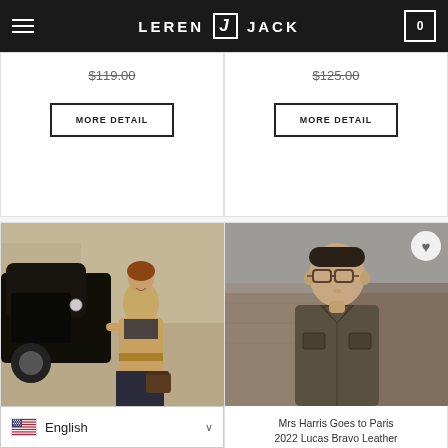LEREN J JACK
$119.00
MORE DETAIL
$125.00
MORE DETAIL
[Figure (photo): Woman in a tan/camel belted coat standing next to a vintage black car, smiling, holding a brown bag]
[Figure (photo): Man wearing glasses in a dark olive/brown leather jacket, outdoor background with stone architecture]
Mrs. Harris Goes to Paris 2022 Ada Harris Coat
Mrs Harris Goes to Paris 2022 Lucas Bravo Leather Jacket
$149.00
English